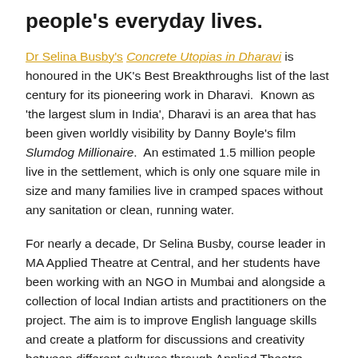people's everyday lives.
Dr Selina Busby's Concrete Utopias in Dharavi is honoured in the UK's Best Breakthroughs list of the last century for its pioneering work in Dharavi. Known as 'the largest slum in India', Dharavi is an area that has been given worldly visibility by Danny Boyle's film Slumdog Millionaire. An estimated 1.5 million people live in the settlement, which is only one square mile in size and many families live in cramped spaces without any sanitation or clean, running water.
For nearly a decade, Dr Selina Busby, course leader in MA Applied Theatre at Central, and her students have been working with an NGO in Mumbai and alongside a collection of local Indian artists and practitioners on the project. The aim is to improve English language skills and create a platform for discussions and creativity between different cultures through Applied Theatre.
The NGO works at a community level, empowering